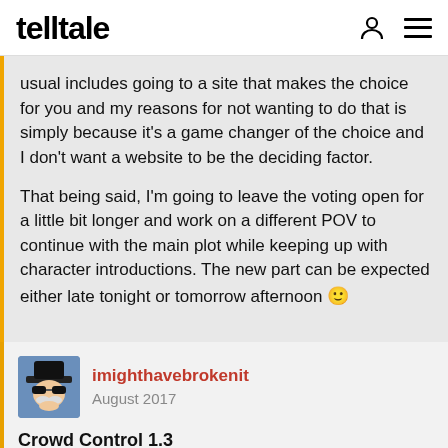telltale
usual includes going to a site that makes the choice for you and my reasons for not wanting to do that is simply because it's a game changer of the choice and I don't want a website to be the deciding factor.

That being said, I'm going to leave the voting open for a little bit longer and work on a different POV to continue with the main plot while keeping up with character introductions. The new part can be expected either late tonight or tomorrow afternoon 🙂
imighthavebrokenit
August 2017
Crowd Control 1.3
"Mr. Richardson! What can you tell us about the recent hack?"